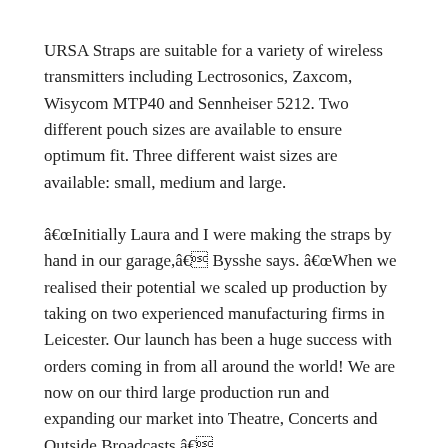URSA Straps are suitable for a variety of wireless transmitters including Lectrosonics, Zaxcom, Wisycom MTP40 and Sennheiser 5212. Two different pouch sizes are available to ensure optimum fit. Three different waist sizes are available: small, medium and large.
âInitially Laura and I were making the straps by hand in our garage,â Bysshe says. âWhen we realised their potential we scaled up production by taking on two experienced manufacturing firms in Leicester. Our launch has been a huge success with orders coming in from all around the world! We are now on our third large production run and expanding our market into Theatre, Concerts and Outside Broadcasts.â